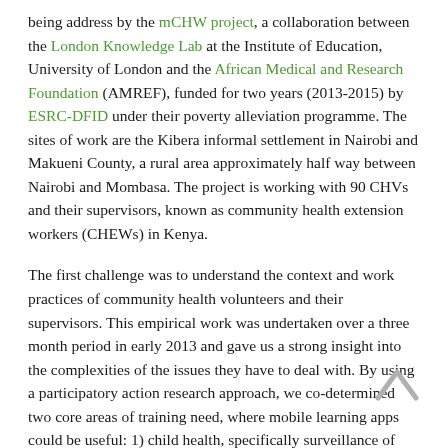being address by the mCHW project, a collaboration between the London Knowledge Lab at the Institute of Education, University of London and the African Medical and Research Foundation (AMREF), funded for two years (2013-2015) by ESRC-DFID under their poverty alleviation programme. The sites of work are the Kibera informal settlement in Nairobi and Makueni County, a rural area approximately half way between Nairobi and Mombasa. The project is working with 90 CHVs and their supervisors, known as community health extension workers (CHEWs) in Kenya.
The first challenge was to understand the context and work practices of community health volunteers and their supervisors. This empirical work was undertaken over a three month period in early 2013 and gave us a strong insight into the complexities of the issues they have to deal with. By using a participatory action research approach, we co-determined two core areas of training need, where mobile learning apps could be useful: 1) child health, specifically surveillance of child development stages and 2) counselling for community members living with HIV. In this phase of our project, we are focusing on child health, with the counselling element beginning in early 2014.
The Malawi Development Assessment Tool (MDAT) which was